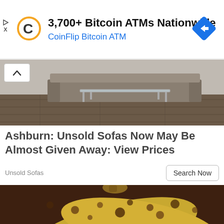[Figure (screenshot): Advertisement banner for CoinFlip Bitcoin ATM. Shows CoinFlip logo (orange C), headline '3,700+ Bitcoin ATMs Nationwide', subline 'CoinFlip Bitcoin ATM' in blue, and a blue diamond direction icon on the right. Play and X controls on the far left.]
[Figure (photo): Interior room photo showing a modern sofa/couch with a glass coffee table on a dark wood floor. A chevron/up-arrow button overlaid in top-left corner.]
Ashburn: Unsold Sofas Now May Be Almost Given Away: View Prices
Unsold Sofas
[Figure (screenshot): Button labelled 'Search Now' with rounded rectangle border.]
[Figure (photo): Close-up photo of overripe bananas with brown spots on a dark wood surface, cropped view showing top portion of the bananas.]